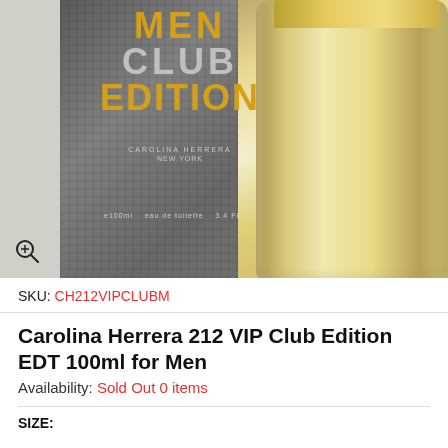[Figure (photo): Product photo showing Carolina Herrera 212 VIP Men Club Edition perfume box in grey with gold and silver text, and the silver/gold glass bottle beside it. A zoom/magnify icon is in the bottom-left corner of the image.]
SKU: CH212VIPCLUBM
Carolina Herrera 212 VIP Club Edition EDT 100ml for Men
Availability: Sold Out 0 items
SIZE: